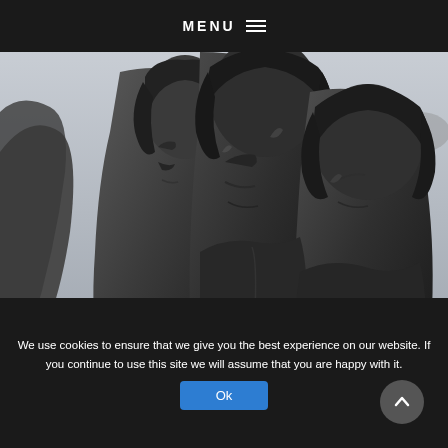MENU ☰
[Figure (photo): Close-up photograph of bronze statues depicting figures with 1960s-style mop-top haircuts, viewed from the side, resembling Beatles statues. Black and white tones with a cloudy sky and stone monument visible in the background.]
We use cookies to ensure that we give you the best experience on our website. If you continue to use this site we will assume that you are happy with it.
Ok